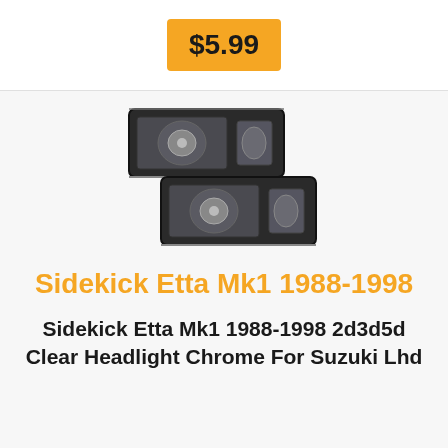$5.99
[Figure (photo): Two dark/smoked chrome headlight assemblies for Suzuki Sidekick Etta Mk1, stacked diagonally]
Sidekick Etta Mk1 1988-1998
Sidekick Etta Mk1 1988-1998 2d3d5d Clear Headlight Chrome For Suzuki Lhd